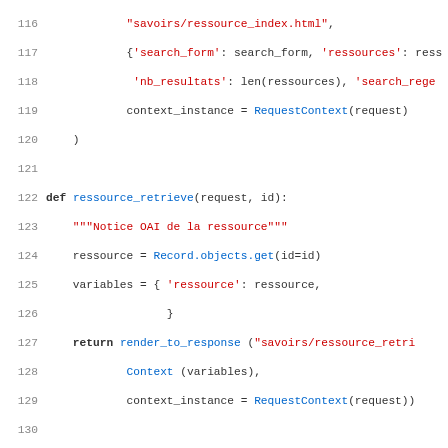[Figure (screenshot): Python source code snippet showing Django view functions: ressource_retrieve, informations, and actualite_index, with line numbers 116-147, displayed with syntax highlighting (keywords in bold, strings in red, function calls in blue).]